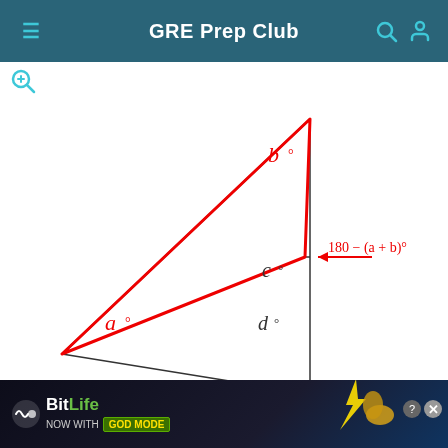GRE Prep Club
[Figure (illustration): Geometry diagram showing two triangles sharing a common left vertex. A red triangle has vertices at the left point, upper-right top point, and a middle-right point. A black triangle has vertices at the left point, the same middle-right point, and a lower-right bottom point. Angles are labeled: a° at the left vertex (inside red triangle), b° at the top-right vertex, c° at the middle-right vertex (above the shared line), d° below c° at the right side in the black triangle. An arrow points to the middle-right vertex with label 180 − (a + b)°.]
[Figure (screenshot): BitLife advertisement banner: 'BitLife NOW WITH GOD MODE' with hand emoji and close button.]